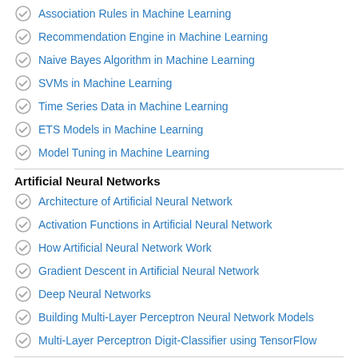Association Rules in Machine Learning
Recommendation Engine in Machine Learning
Naive Bayes Algorithm in Machine Learning
SVMs in Machine Learning
Time Series Data in Machine Learning
ETS Models in Machine Learning
Model Tuning in Machine Learning
Artificial Neural Networks
Architecture of Artificial Neural Network
Activation Functions in Artificial Neural Network
How Artificial Neural Network Work
Gradient Descent in Artificial Neural Network
Deep Neural Networks
Building Multi-Layer Perceptron Neural Network Models
Multi-Layer Perceptron Digit-Classifier using TensorFlow
Deep Learning and AI
Introduction to Deep Learning and AI
Deep Learning with Tensorflow